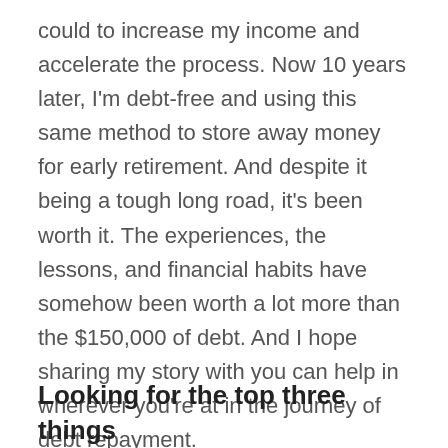could to increase my income and accelerate the process. Now 10 years later, I'm debt-free and using this same method to store away money for early retirement. And despite it being a tough long road, it's been worth it. The experiences, the lessons, and financial habits have somehow been worth a lot more than the $150,000 of debt. And I hope sharing my story with you can help in wherever you're at in the journey of debt repayment.
Looking for the top three things